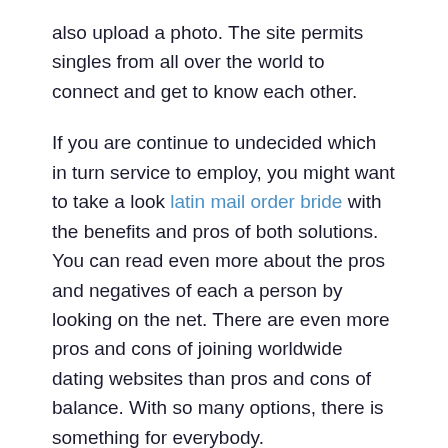also upload a photo. The site permits singles from all over the world to connect and get to know each other.
If you are continue to undecided which in turn service to employ, you might want to take a look latin mail order bride with the benefits and pros of both solutions. You can read even more about the pros and negatives of each a person by looking on the net. There are even more pros and cons of joining worldwide dating websites than pros and cons of balance. With so many options, there is something for everybody.
You will have to think about what you are looking for in a person before becoming a member of any international dating sites. If you have a particular nation in mind when searching for a partner,